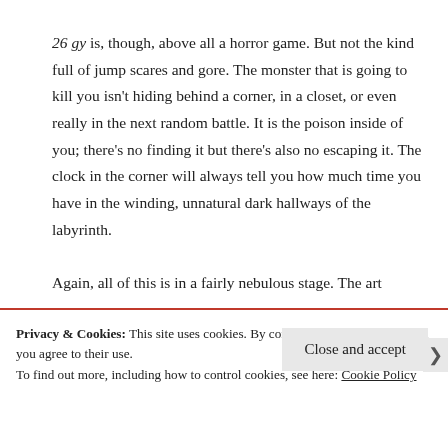26 gy is, though, above all a horror game. But not the kind full of jump scares and gore. The monster that is going to kill you isn't hiding behind a corner, in a closet, or even really in the next random battle. It is the poison inside of you; there's no finding it but there's also no escaping it. The clock in the corner will always tell you how much time you have in the winding, unnatural dark hallways of the labyrinth.

Again, all of this is in a fairly nebulous stage. The art
Privacy & Cookies: This site uses cookies. By continuing to use this website, you agree to their use.
To find out more, including how to control cookies, see here: Cookie Policy
Close and accept